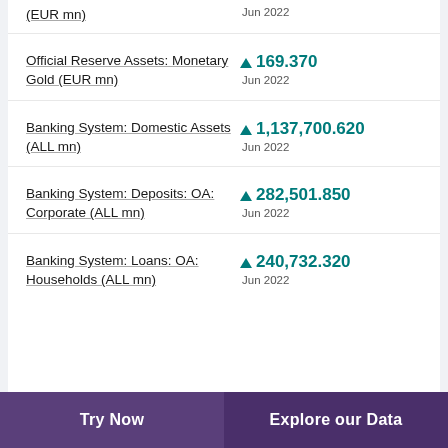Official Reserve Assets: Monetary Gold (EUR mn)
Banking System: Domestic Assets (ALL mn)
Banking System: Deposits: OA: Corporate (ALL mn)
Banking System: Loans: OA: Households (ALL mn)
Try Now | Explore our Data